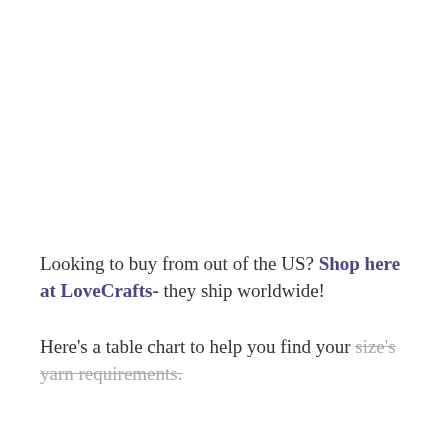Looking to buy from out of the US? Shop here at LoveCrafts- they ship worldwide!
Here's a table chart to help you find your size's yarn requirements.